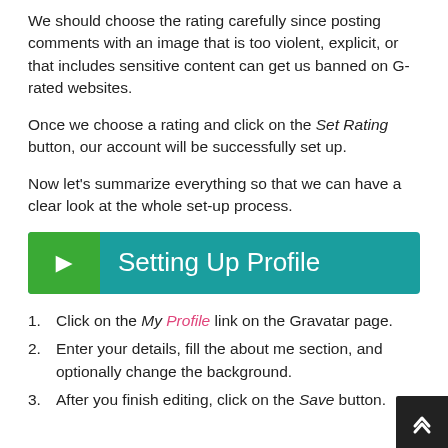We should choose the rating carefully since posting comments with an image that is too violent, explicit, or that includes sensitive content can get us banned on G-rated websites.
Once we choose a rating and click on the Set Rating button, our account will be successfully set up.
Now let's summarize everything so that we can have a clear look at the whole set-up process.
Setting Up Profile
Click on the My Profile link on the Gravatar page.
Enter your details, fill the about me section, and optionally change the background.
After you finish editing, click on the Save button.